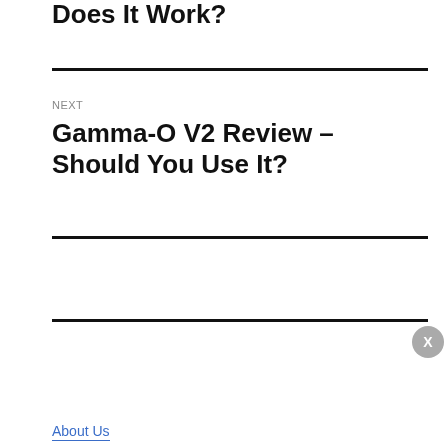Does It Work?
NEXT
Gamma-O V2 Review – Should You Use It?
[Figure (other): Blue promotional banner with white bold text: Want To See What Supplements Work Like Adderall? Click Here To Find Out!]
About Us